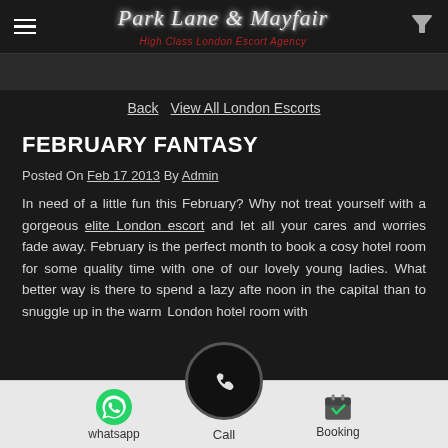Park Lane & Mayfair — High Class London Escort Agency
Back   View All London Escorts
FEBRUARY FANTASY
Posted On Feb 17 2013 By Admin
In need of a little fun this February? Why not treat yourself with a gorgeous elite London escort and let all your cares and worries fade away. February is the perfect month to book a cosy hotel room for some quality time with one of our lovely young ladies. What better way is there to spend a lazy afternoon in the capital than to snuggle up in the warm London hotel room with
whatsapp   Call   Booking